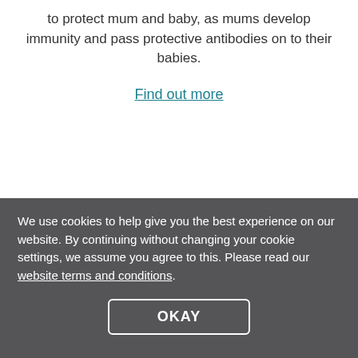to protect mum and baby, as mums develop immunity and pass protective antibodies on to their babies.
Find out more
We use cookies to help give you the best experience on our website. By continuing without changing your cookie settings, we assume you agree to this. Please read our website terms and conditions.
OKAY